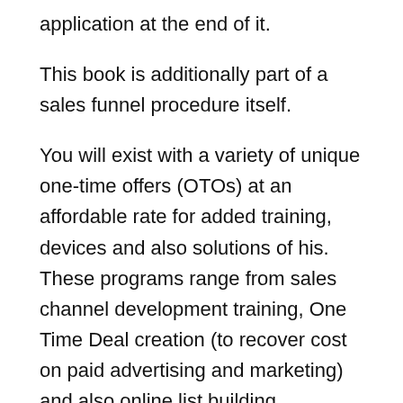application at the end of it.
This book is additionally part of a sales funnel procedure itself.
You will exist with a variety of unique one-time offers (OTOs) at an affordable rate for added training, devices and also solutions of his. These programs range from sales channel development training, One Time Deal creation (to recover cost on paid advertising and marketing) and also online list building approaches.